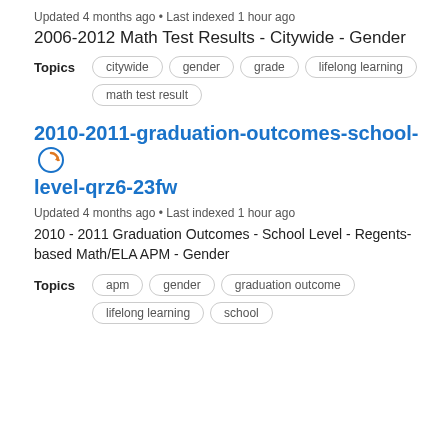Updated 4 months ago • Last indexed 1 hour ago
2006-2012 Math Test Results - Citywide - Gender
Topics  citywide  gender  grade  lifelong learning  math test result
2010-2011-graduation-outcomes-school-level-qrz6-23fw
Updated 4 months ago • Last indexed 1 hour ago
2010 - 2011 Graduation Outcomes - School Level - Regents-based Math/ELA APM - Gender
Topics  apm  gender  graduation outcome  lifelong learning  school